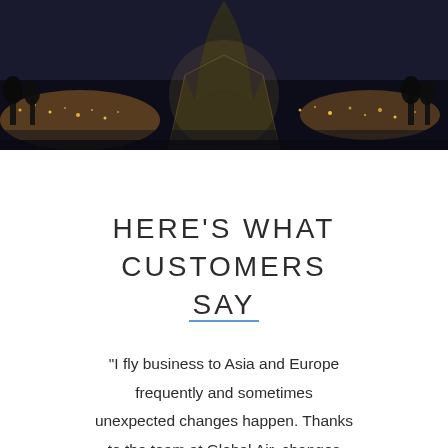[Figure (photo): Night aerial photo of the Eiffel Tower in Paris with city lights in the background, dark and atmospheric tone.]
HERE'S WHAT CUSTOMERS SAY
“I fly business to Asia and Europe frequently and sometimes unexpected changes happen. Thanks to the team at Global Air, changes